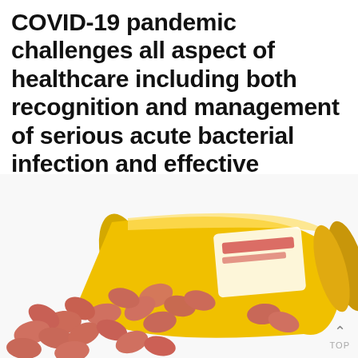COVID-19 pandemic challenges all aspect of healthcare including both recognition and management of serious acute bacterial infection and effective delivery of antimicrobial stewardship.
[Figure (photo): A prescription pill bottle tipped on its side with numerous small round salmon/pink tablets spilling out onto a white surface.]